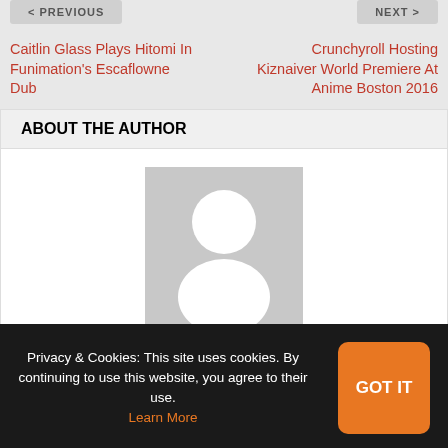< PREVIOUS
NEXT >
Caitlin Glass Plays Hitomi In Funimation's Escaflowne Dub
Crunchyroll Hosting Kiznaiver World Premiere At Anime Boston 2016
ABOUT THE AUTHOR
[Figure (illustration): Generic user avatar placeholder — grey square with white silhouette of a person]
Samantha Ferreira
Privacy & Cookies: This site uses cookies. By continuing to use this website, you agree to their use. Learn More